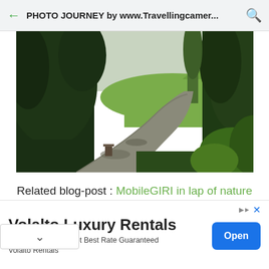PHOTO JOURNEY by www.Travellingcamer...
[Figure (photo): Narrow winding road through dense green trees and forest, outdoor nature scene, overcast sky visible in background]
Related blog-post : MobileGIRI in lap of nature with Huawei P9 - Panchpula (Dlahousie, achal)
Volalto Luxury Rentals
Book Directly And Get Best Rate Guaranteed
Volalto Rentals